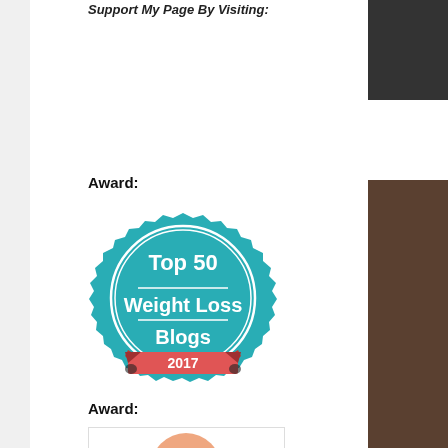Support My Page By Visiting:
Award:
[Figure (illustration): Top 50 Weight Loss Blogs 2017 award badge — teal/cyan serrated circle badge with white text reading 'Top 50 Weight Loss Blogs' and a red ribbon banner at the bottom reading '2017']
Award:
[Figure (illustration): Second award badge, partially visible at bottom of page]